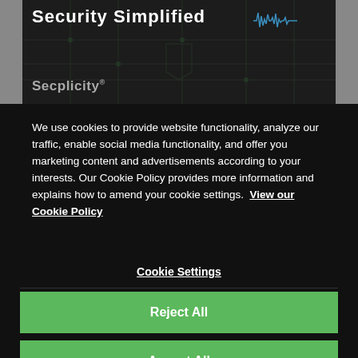[Figure (screenshot): Dark background image with circuit board pattern, 'Security Simplified' title with waveform graphic, and 'Secplicity' branding text below]
We use cookies to provide website functionality, analyze our traffic, enable social media functionality, and offer you marketing content and advertisements according to your interests. Our Cookie Policy provides more information and explains how to amend your cookie settings.  View our Cookie Policy
Cookie Settings
Reject All
Accept All